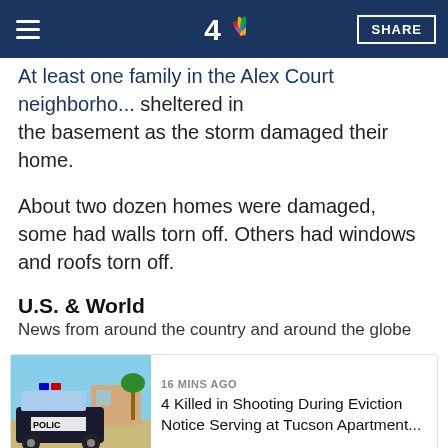NBC 4 — SHARE
At least one family in the Alex Court neighborhood sheltered in the basement as the storm damaged their home.
About two dozen homes were damaged, some had walls torn off. Others had windows and roofs torn off.
U.S. & World
News from around the country and around the globe
[Figure (photo): Police car with POLICE text visible on door, parked outside a residence]
16 MINS AGO
4 Killed in Shooting During Eviction Notice Serving at Tucson Apartment...
[Figure (photo): Two men in suits seen from behind, outdoors]
2 HOURS AGO
Mark Meadows, Sidney Powell Testimony Sought in Georgia Election Probe
One woman found leaves from the storm in her home, once...